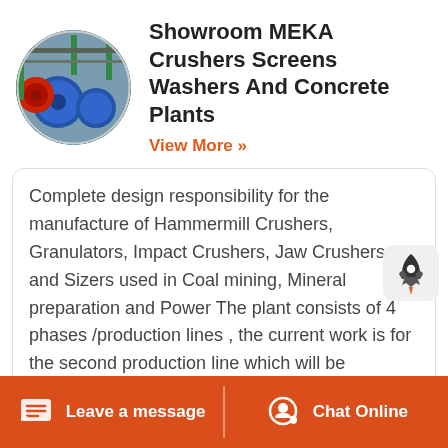[Figure (photo): Circular thumbnail photo of industrial machinery (ball mills/crushers) in a manufacturing facility, with blue cylindrical equipment visible]
Showroom MEKA Crushers Screens Washers And Concrete Plants
View More »
Complete design responsibility for the manufacture of Hammermill Crushers, Granulators, Impact Crushers, Jaw Crushers and Sizers used in Coal mining, Mineral preparation and Power The plant consists of 4 phases /production lines , the current work is for the second production line which will be equipped with primary and secondary crushers, a granules processing stage, a 2MW ball mill with multiple classifying systems
Leave a message   Chat Online